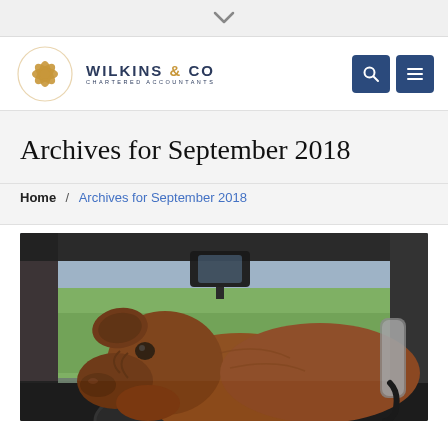Wilkins & Co Chartered Accountants
Archives for September 2018
Home / Archives for September 2018
[Figure (photo): A large brown mastiff dog sitting in the driver's seat of a car, looking forward over the steering wheel, with green fields visible through the windshield]